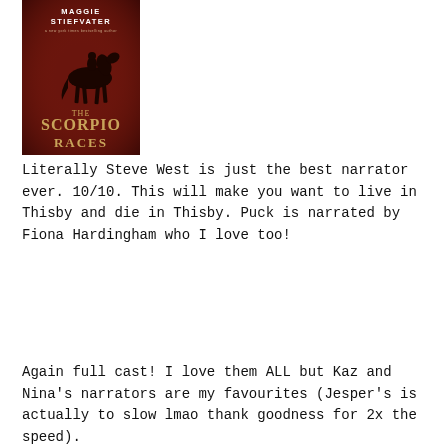[Figure (illustration): Book cover of 'The Scorpio Races' by Maggie Stiefvater. Dark red/maroon background with a silhouette of a horse and rider. Title text 'THE SCORPIO RACES' in gold/tan lettering. Author name 'MAGGIE STIEFVATER' at top in white text.]
Literally Steve West is just the best narrator ever. 10/10. This will make you want to live in Thisby and die in Thisby. Puck is narrated by Fiona Hardingham who I love too!
Again full cast! I love them ALL but Kaz and Nina's narrators are my favourites (Jesper's is actually to slow lmao thank goodness for 2x the speed).